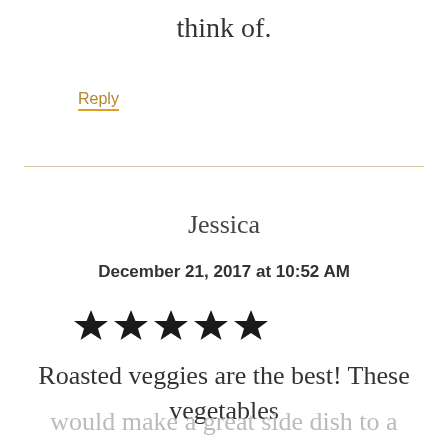think of.
Reply
Jessica
December 21, 2017 at 10:52 AM
[Figure (other): Five filled star rating icons]
Roasted veggies are the best! These vegetables would make a great side dish to a holiday dinner!